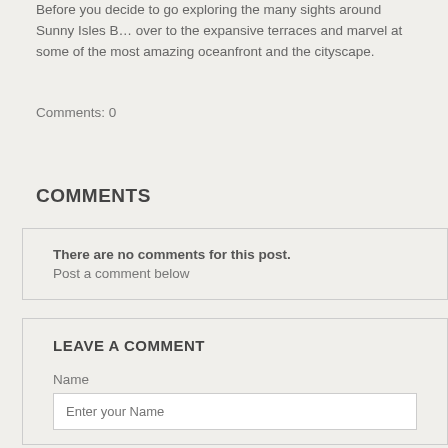Before you decide to go exploring the many sights around Sunny Isles B... over to the expansive terraces and marvel at some of the most amazing oceanfront and the cityscape.
Comments: 0
COMMENTS
There are no comments for this post. Post a comment below
LEAVE A COMMENT
Name
Enter your Name